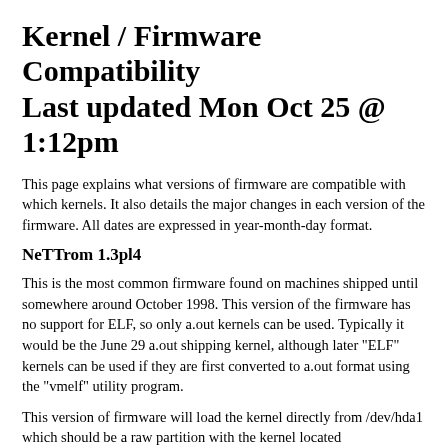Kernel / Firmware Compatibility Last updated Mon Oct 25 @ 1:12pm
This page explains what versions of firmware are compatible with which kernels. It also details the major changes in each version of the firmware. All dates are expressed in year-month-day format.
NeTTrom 1.3pl4
This is the most common firmware found on machines shipped until somewhere around October 1998. This version of the firmware has no support for ELF, so only a.out kernels can be used. Typically it would be the June 29 a.out shipping kernel, although later "ELF" kernels can be used if they are first converted to a.out format using the "vmelf" utility program.
This version of firmware will load the kernel directly from /dev/hda1 which should be a raw partition with the kernel located